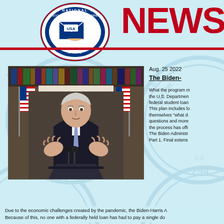[Figure (logo): National Association of Letter Carriers circular logo with USA envelope graphic]
NEWS
Aug. 25 2022
The Biden-
[Figure (photo): President Biden speaking at a podium with American flags and bookshelf in background]
What the program means: the U.S. Department federal student loan This plan includes lo themselves "what d questions and more the process has offi The Biden Administ Part 1. Final extens
Due to the economic challenges created by the pandemic, the Biden-Harris A Because of this, no one with a federally held loan has had to pay a single do